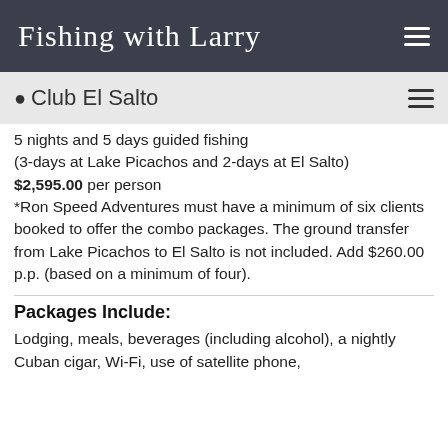Fishing with Larry
Club El Salto
5 nights and 5 days guided fishing (3-days at Lake Picachos and 2-days at El Salto) $2,595.00 per person *Ron Speed Adventures must have a minimum of six clients booked to offer the combo packages. The ground transfer from Lake Picachos to El Salto is not included. Add $260.00 p.p. (based on a minimum of four).
Packages Include:
Lodging, meals, beverages (including alcohol), a nightly Cuban cigar, Wi-Fi, use of satellite phone,